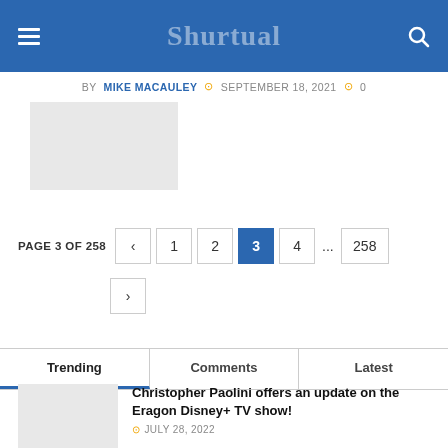Shurtual
BY MIKE MACAULEY · SEPTEMBER 18, 2021 · 0
[Figure (screenshot): Article thumbnail placeholder image (light gray rectangle)]
PAGE 3 OF 258  <  1  2  3  4  ...  258  >
Trending  Comments  Latest
Christopher Paolini offers an update on the Eragon Disney+ TV show! · JULY 28, 2022
Eragon TV adaptation is in the works at Disney+! · JULY 26, 2022